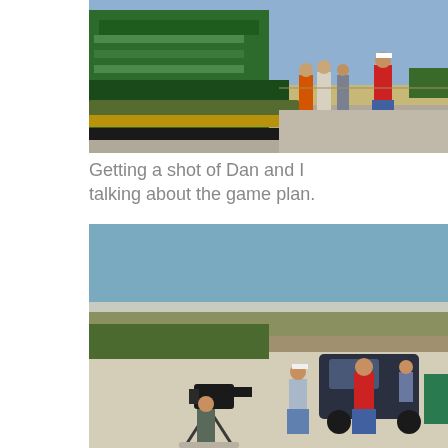[Figure (photo): Outdoor farm scene: a large green combine harvester on the left, with several people standing nearby on a paved surface, flat plains and blue sky in the background.]
Getting a shot of Dan and I talking about the game plan.
[Figure (photo): Wide open plains landscape with blue sky, a cameraman on a tripod filming, a man in a white cap walking, another man in a red shirt near a dark SUV, and a green vehicle on the far right.]